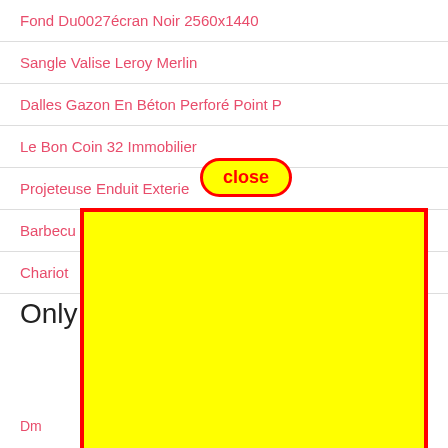Fond Du0027écran Noir 2560x1440
Sangle Valise Leroy Merlin
Dalles Gazon En Béton Perforé Point P
Le Bon Coin 32 Immobilier
Projeteuse Enduit Exterieur Leroy Merlin
Barbecue…
Chariot…
Only F…
[Figure (other): A close button (pill-shaped, yellow with red border) overlaid on top of a yellow rectangle with thick red border covering the lower portion of the page. The close button reads 'close' in red bold text.]
Dm… …ight